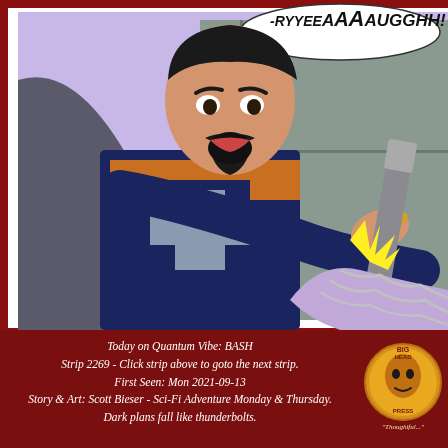[Figure (illustration): Comic book panel showing a costumed male character with goatee and dark cape screaming in pain (-RYYEEAAAAUGGHH!) as his wrist is struck with a metal rod. Sound effect 'THUNK!' visible in bold purple text. A lavender-sleeved arm holds chains. Background is light purple/pink.]
Today on Quantum Vibe: BASH
Strip 2269 - Click strip above to goto the next strip.
First Seen: Mon 2021-09-13
Story & Art: Scott Bieser - Sci-Fi Adventure Monday & Thursday.
Dark plans fall like thunderbolts.
[Figure (logo): Big Head Press logo - circular gold/yellow logo with stylized face and text 'BIG HEAD PRESS' and tagline 'Thoughtful']